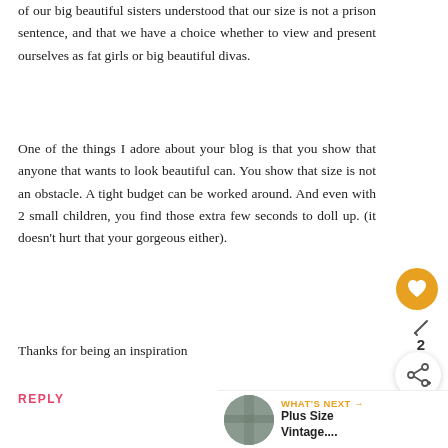of our big beautiful sisters understood that our size is not a prison sentence, and that we have a choice whether to view and present ourselves as fat girls or big beautiful divas.
One of the things I adore about your blog is that you show that anyone that wants to look beautiful can. You show that size is not an obstacle. A tight budget can be worked around. And even with 2 small children, you find those extra few seconds to doll up. (it doesn't hurt that your gorgeous either).
Thanks for being an inspiration
REPLY
WHAT'S NEXT → Plus Size Vintage....